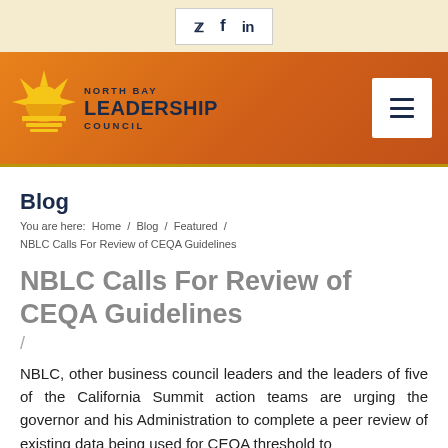Social icons: Twitter, Facebook, LinkedIn
[Figure (logo): North Bay Leadership Council logo — sun graphic with organization name on orange gradient banner with menu icon]
Blog
You are here:  Home / Blog / Featured / NBLC Calls For Review of CEQA Guidelines
NBLC Calls For Review of CEQA Guidelines
/
NBLC, other business council leaders and the leaders of five of the California Summit action teams are urging the governor and his Administration to complete a peer review of existing data being used for CEQA threshold to